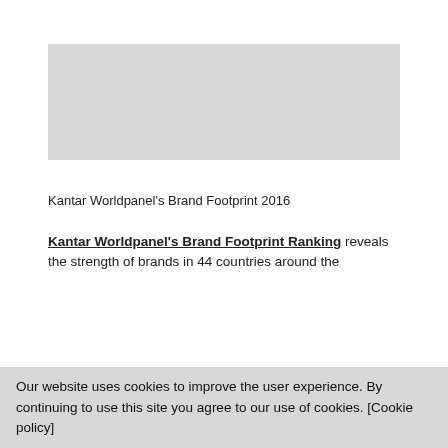[Figure (other): Light grey placeholder image block]
Kantar Worldpanel’s Brand Footprint 2016
Kantar Worldpanel’s Brand Footprint Ranking reveals the strength of brands in 44 countries around the
Our website uses cookies to improve the user experience. By continuing to use this site you agree to our use of cookies. [Cookie policy]